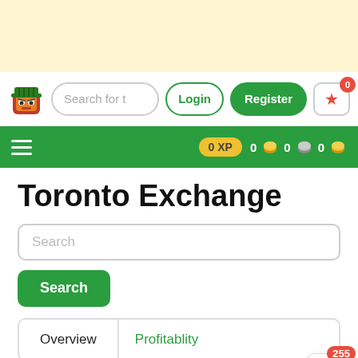[Figure (screenshot): Top cream/yellow banner area]
Search for t  Login  Register  0
0 XP  0  0  0
Toronto Exchange
Search
Search
Overview  Profitablity
Operating Efficiency  Liquidity  Solvency